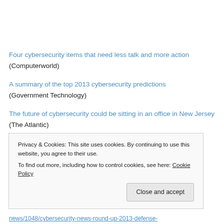Four cybersecurity items that need less talk and more action (Computerworld)
A summary of the top 2013 cybersecurity predictions (Government Technology)
The future of cybersecurity could be sitting in an office in New Jersey (The Atlantic)
Privacy & Cookies: This site uses cookies. By continuing to use this website, you agree to their use. To find out more, including how to control cookies, see here: Cookie Policy
Close and accept
news/1048/cybersecurity-news-round-up-2013-defense-